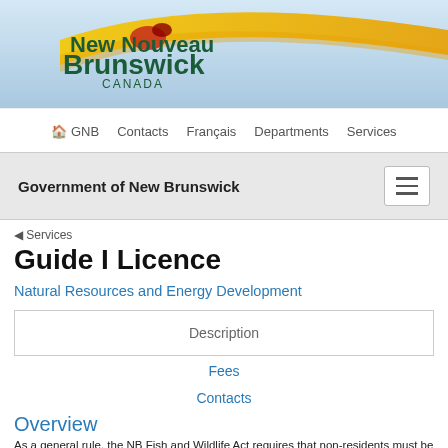[Figure (logo): New Brunswick Canada government logo with bird and yellow swoosh banner]
GNB  Contacts  Français  Departments  Services
Government of New Brunswick
◀ Services
Guide I Licence
Natural Resources and Energy Development
Description
Fees
Contacts
Overview
As a general rule, the NB Fish and Wildlife Act requires that non-residents must be accompanied by a licensed guide to hunt game species or to fish for Atlantic Salmon. A Guide I Licence may be issued to a person who